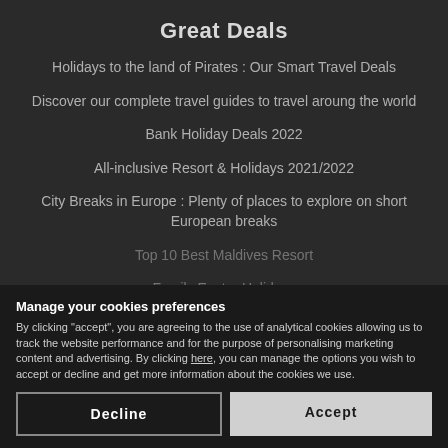Great Deals
Holidays to the land of Pirates : Our Smart Travel Deals
Discover our complete travel guides to travel aroung the world
Bank Holiday Deals 2022
All-inclusive Resort & Holidays 2021/2022
City Breaks in Europe : Plenty of places to explore on short European breaks
Top 10 Best Maldives Resort
Family Easter Holidays
Inscrivez-vous gratuitement
Manage your cookies preferences
By clicking "accept", you are agreeing to the use of analytical cookies allowing us to track the website performance and for the purpose of personalising marketing content and advertising. By clicking here, you can manage the options you wish to accept or decline and get more information about the cookies we use.
Decline
Accept